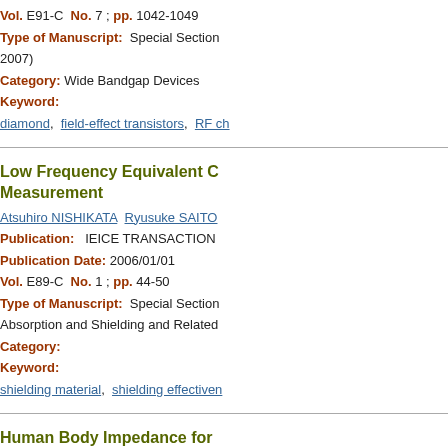Vol. E91-C  No. 7 ; pp. 1042-1049
Type of Manuscript:  Special Section (2007)
Category: Wide Bandgap Devices
Keyword:
diamond,  field-effect transistors,  RF ch...
Low Frequency Equivalent C... Measurement
Atsuhiro NISHIKATA  Ryusuke SAITO...
Publication:   IEICE TRANSACTION...
Publication Date: 2006/01/01
Vol. E89-C  No. 1 ; pp. 44-50
Type of Manuscript:  Special Section... Absorption and Shielding and Related ...
Category:
Keyword:
shielding material,  shielding effectiven...
Human Body Impedance for...
Yoshitsugu KAMIMURA  Katsuo KOM...